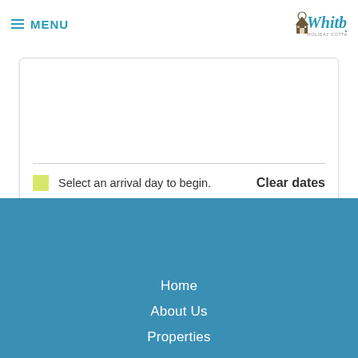≡ MENU
[Figure (logo): Whitby Holiday Cottages logo with stylized script text and house icon]
Select an arrival day to begin.   Clear dates
Home
About Us
Properties